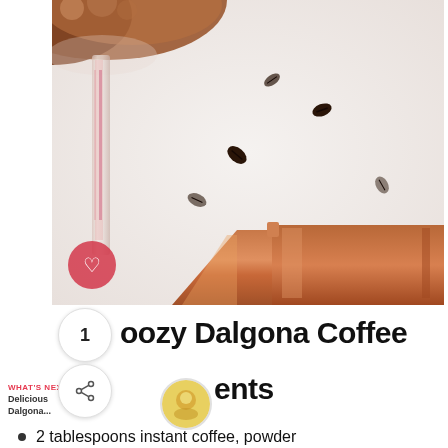[Figure (photo): Close-up photo of a cocktail glass with coffee-colored drink and foam, a copper jigger bar tool, and scattered coffee beans on a white background. A pink/red heart button is visible in the lower left of the image.]
oozy Dalgona Coffee
WHAT'S NEXT → Delicious Dalgona...
ents
2 tablespoons instant coffee, powder